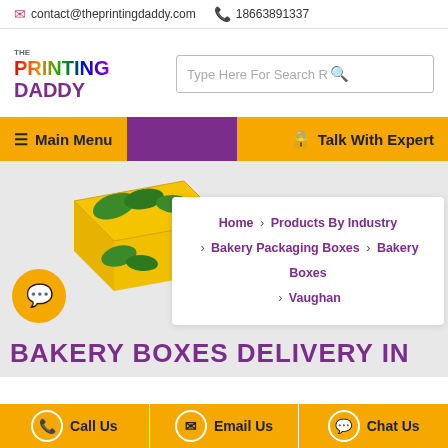contact@theprintingdaddy.com   18663891337
[Figure (logo): The Printing Daddy logo with cartoon character]
Type Here For Search R
Main Menu   Talk With Expert
[Figure (photo): Yellow and green bakery packaging box product image]
Home > Products By Industry > Bakery Packaging Boxes > Bakery Boxes > Vaughan
BAKERY BOXES DELIVERY IN
Call Us   Email Us   Chat Us